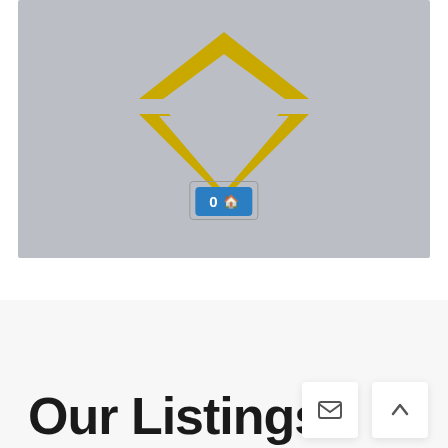[Figure (screenshot): Map placeholder with a gray background and a gold/yellow diamond-shaped logo icon in the center, with a blue badge showing '0 🏠' overlaid near the bottom center.]
Our Listings